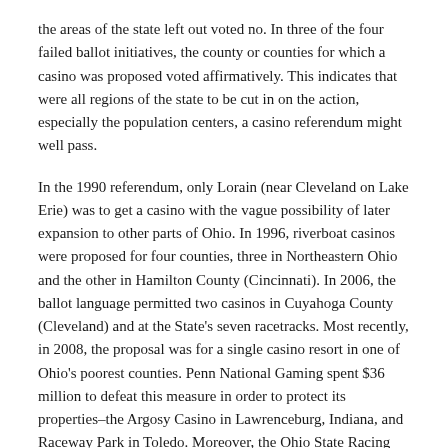the areas of the state left out voted no.  In three of the four failed ballot initiatives, the county or counties for which a casino was proposed voted affirmatively.  This indicates that were all regions of the state to be cut in on the action, especially the population centers, a casino referendum might well pass.
In the 1990 referendum, only Lorain (near Cleveland on Lake Erie) was to get a casino with the vague possibility of later expansion to other parts of Ohio.  In 1996, riverboat casinos were proposed for four counties, three in Northeastern Ohio and the other in Hamilton County (Cincinnati).  In 2006, the ballot language permitted two casinos in Cuyahoga County (Cleveland) and at the State's seven racetracks.  Most recently, in 2008, the proposal was for a single casino resort in one of Ohio's poorest counties.   Penn National Gaming spent $36 million to defeat this measure in order to protect its properties–the Argosy Casino in Lawrenceburg, Indiana, and Raceway Park in Toledo.  Moreover, the Ohio State Racing Commission urged a no vote.
A ballot initiative would have a far stronger chance of approval if it